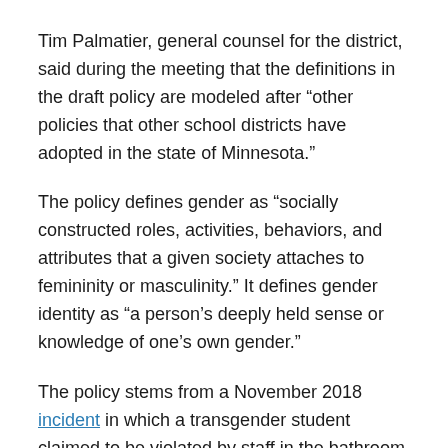Tim Palmatier, general counsel for the district, said during the meeting that the definitions in the draft policy are modeled after “other policies that other school districts have adopted in the state of Minnesota.”
The policy defines gender as “socially constructed roles, activities, behaviors, and attributes that a given society attaches to femininity or masculinity.” It defines gender identity as “a person’s deeply held sense or knowledge of one’s own gender.”
The policy stems from a November 2018 incident in which a transgender student claimed to be violated by staff in the bathroom. The school stated at the time that, “due to data privacy laws, we will not be able to share more information involving the video posted on social media that does not accurately reflect the entire situation.”